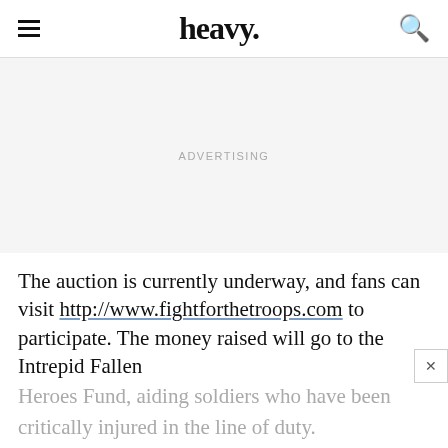heavy.
ADVERTISING
The auction is currently underway, and fans can visit http://www.fightforthetroops.com to participate. The money raised will go to the Intrepid Fallen Heroes Fund, aiding soldiers who have been critically injured in the line of duty.